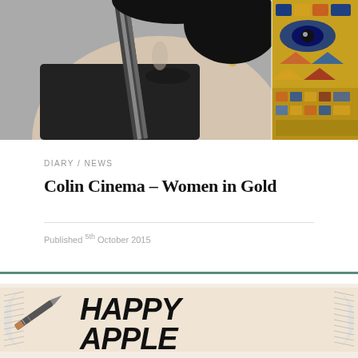[Figure (photo): Split photo: left side shows a black-and-white close-up of a person's lower face with dark lips wearing a dark jacket and striped tie; right side shows a colorful mosaic or artwork with an eye motif and geometric patterns in gold, blue, and orange.]
DIARY / NEWS
Colin Cinema – Women in Gold
Published 5th October 2015
[Figure (illustration): A hand-lettered illustration on a cream/beige scroll or banner background, with a pencil or quill on the left side. Large bold italic black text reads 'HAPPY APPLE DAY'.]